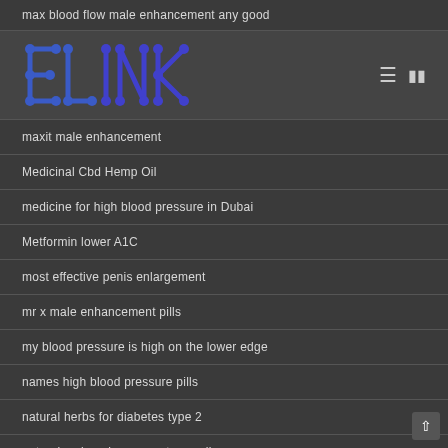max blood flow male enhancement any good
[Figure (logo): ELINK logo in blue node-and-connector style lettering on dark background with hamburger menu and grid icon]
maxit male enhancement
Medicinal Cbd Hemp Oil
medicine for high blood pressure in Dubai
Metformin lower A1C
most effective penis enlargement
mr x male enhancement pills
my blood pressure is high on the lower edge
names high blood pressure pills
natural herbs for diabetes type 2
natural male enhancement remedies
natural methods to lower blood pressure
natural testosterone male enhancement